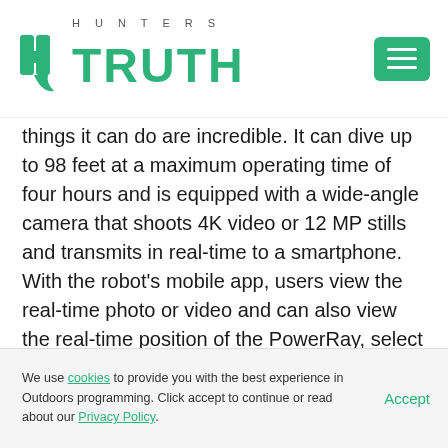HUNTERS TRUTH
things it can do are incredible. It can dive up to 98 feet at a maximum operating time of four hours and is equipped with a wide-angle camera that shoots 4K video or 12 MP stills and transmits in real-time to a smartphone. With the robot's mobile app, users view the real-time photo or video and can also view the real-time position of the PowerRay, select travel mode, speed and light settings, and operate the camera. The robot also is optionally available with VR goggles that provide an underwater view, which also allows the user to interact with and manipulate the robot underwater via head tilting.

Available with the PowerRay is the PowerRay Fishfinder.
We use cookies to provide you with the best experience in Outdoors programming. Click accept to continue or read about our Privacy Policy.